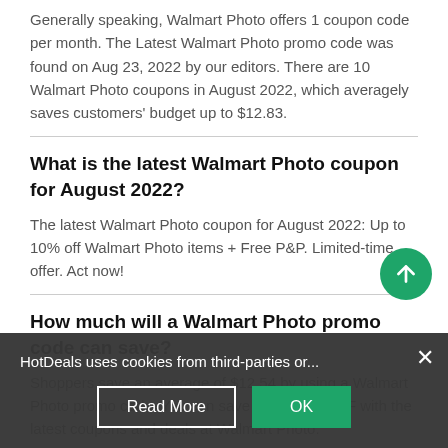Generally speaking, Walmart Photo offers 1 coupon code per month. The Latest Walmart Photo promo code was found on Aug 23, 2022 by our editors. There are 10 Walmart Photo coupons in August 2022, which averagely saves customers' budget up to $12.83.
What is the latest Walmart Photo coupon for August 2022?
The latest Walmart Photo coupon for August 2022: Up to 10% off Walmart Photo items + Free P&P. Limited-time offer. Act now!
How much will a Walmart Photo promo code can save?
Shoppers save an average of $12.54 by using a Walmart Photo promo code. You can save up to 50% OFF with the latest coupons and deals at Walmart Photo.
HotDeals uses cookies from third-parties or...
How to get the latest coupons, promotions...